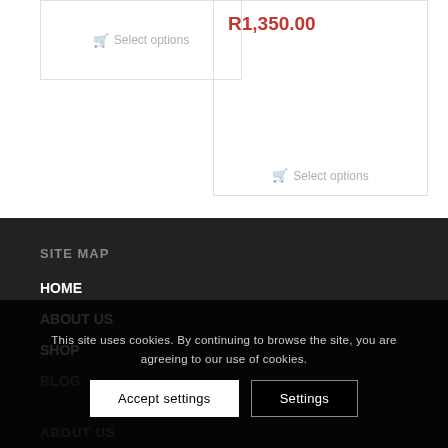Select options
R1,350.00
Select options
SITE MAP
HOME
ABOUT US
SHOP
BLOG
This site uses cookies. By continuing to browse the site, you are agreeing to our use of cookies.
Accept settings
Settings
ABOUT US